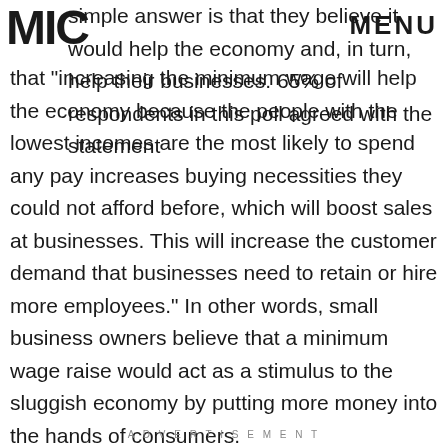MIC | MENU
simple answer is that they believe it would help the economy and, in turn, help their businesses. 65% of respondents in this poll agreed with the statement that "increasing the minimum wage will help the economy because the people with the lowest incomes are the most likely to spend any pay increases buying necessities they could not afford before, which will boost sales at businesses. This will increase the customer demand that businesses need to retain or hire more employees." In other words, small business owners believe that a minimum wage raise would act as a stimulus to the sluggish economy by putting more money into the hands of consumers.
ADVERTISEMENT